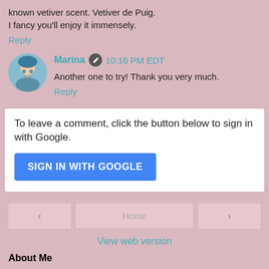known vetiver scent. Vetiver de Puig. I fancy you'll enjoy it immensely.
Reply
Marina  10:16 PM EDT
Another one to try! Thank you very much.
Reply
To leave a comment, click the button below to sign in with Google.
SIGN IN WITH GOOGLE
‹
Home
›
View web version
About Me